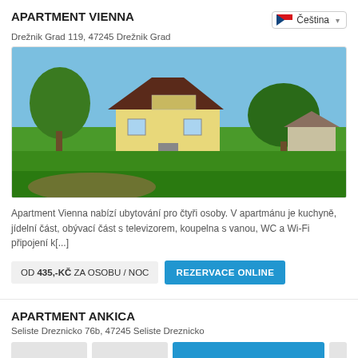APARTMENT VIENNA
Drežnik Grad 119, 47245 Drežnik Grad
[Figure (photo): Photo of a yellow house with dark roof surrounded by green lawn and trees under blue sky]
Apartment Vienna nabízí ubytování pro čtyři osoby. V apartmánu je kuchyně, jídelní část, obývací část s televizorem, koupelna s vanou, WC a Wi-Fi připojení k[...]
OD 435,-KČ ZA OSOBU / NOC
REZERVACE ONLINE
APARTMENT ANKICA
Seliste Dreznicko 76b, 47245 Seliste Dreznicko